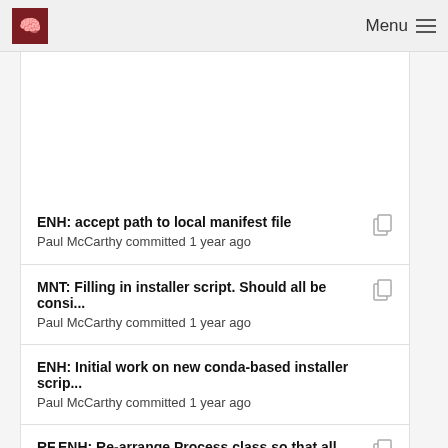Menu
ENH: accept path to local manifest file
Paul McCarthy committed 1 year ago
MNT: Filling in installer script. Should all be consi...
Paul McCarthy committed 1 year ago
ENH: Initial work on new conda-based installer scrip...
Paul McCarthy committed 1 year ago
RF,ENH: Re-arrange Process class so that all calle...
Paul McCarthy committed 1 year ago
RF: Always log to $TMPDIR/fslinstaller.log
Paul McCarthy committed 1 year ago